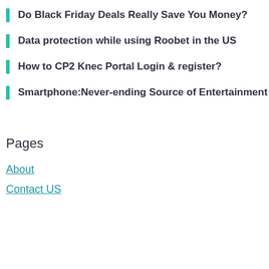Do Black Friday Deals Really Save You Money?
Data protection while using Roobet in the US
How to CP2 Knec Portal Login & register?
Smartphone:Never-ending Source of Entertainment
Pages
About
Contact US